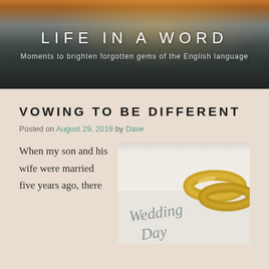LIFE IN A WORD
Moments to brighten forgotten gems of the English language
VOWING TO BE DIFFERENT
Posted on August 29, 2019 by Dave
[Figure (photo): Wedding rings resting on a Wedding Day card with cursive script]
When my son and his wife were married five years ago, there
Follow